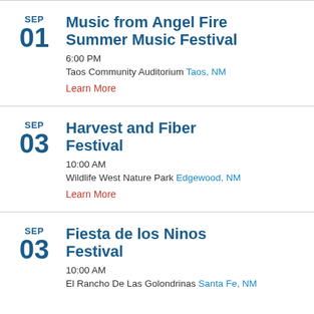SEP 01 Music from Angel Fire Summer Music Festival 6:00 PM Taos Community Auditorium Taos, NM Learn More
SEP 03 Harvest and Fiber Festival 10:00 AM Wildlife West Nature Park Edgewood, NM Learn More
SEP 03 Fiesta de los Ninos Festival 10:00 AM El Rancho De Las Golondrinas Santa Fe, NM